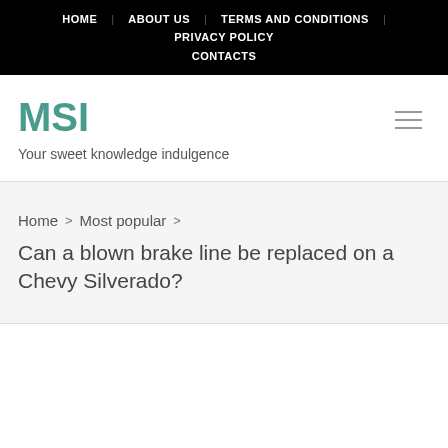HOME  ABOUT US  TERMS AND CONDITIONS  PRIVACY POLICY  CONTACTS
MSI
Your sweet knowledge indulgence
Home > Most popular > Can a blown brake line be replaced on a Chevy Silverado?